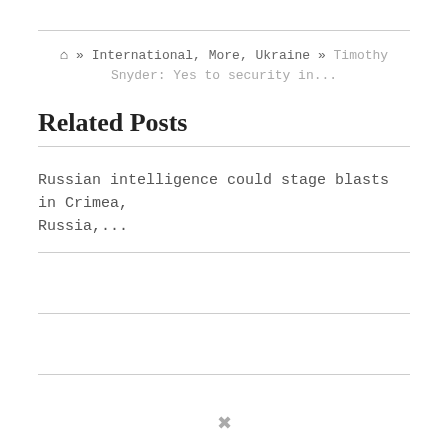🏠 » International, More, Ukraine » Timothy Snyder: Yes to security in...
Related Posts
Russian intelligence could stage blasts in Crimea, Russia,...